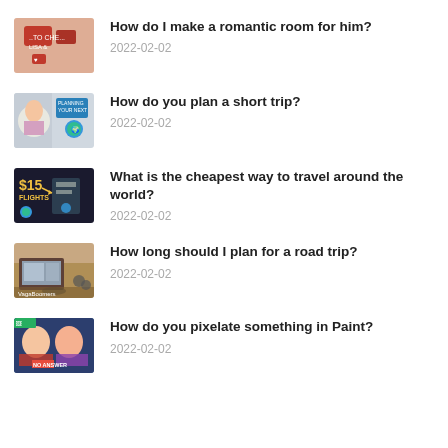How do I make a romantic room for him?
2022-02-02
How do you plan a short trip?
2022-02-02
What is the cheapest way to travel around the world?
2022-02-02
How long should I plan for a road trip?
2022-02-02
How do you pixelate something in Paint?
2022-02-02